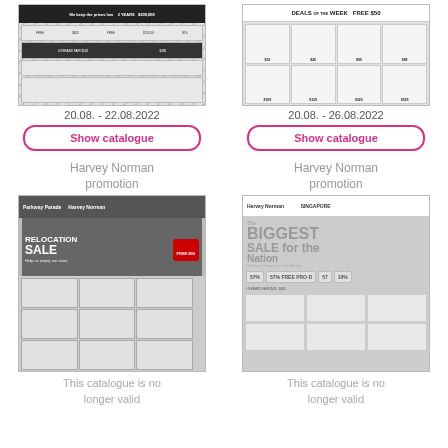[Figure (photo): Harvey Norman promotion catalogue thumbnail - dark themed with products and prices]
20.08. - 22.08.2022
Show catalogue
[Figure (photo): Harvey Norman Deals of the Week catalogue thumbnail with product prices]
20.08. - 26.08.2022
Show catalogue
Harvey Norman promotion
Harvey Norman promotion
[Figure (photo): Harvey Norman Parkway Parade Relocation Sale catalogue thumbnail]
[Figure (photo): Harvey Norman The Biggest Sale for the Nation Singapore catalogue thumbnail]
This catalogue is no longer valid
This catalogue is no longer valid